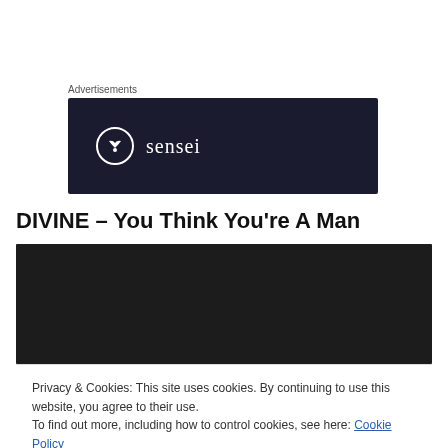Advertisements
[Figure (logo): Sensei brand advertisement banner with dark navy background, circular tree logo icon and the word 'sensei' in white text]
DIVINE – You Think You're A Man
[Figure (screenshot): Dark/black video player embed area]
Privacy & Cookies: This site uses cookies. By continuing to use this website, you agree to their use.
To find out more, including how to control cookies, see here: Cookie Policy
Close and accept